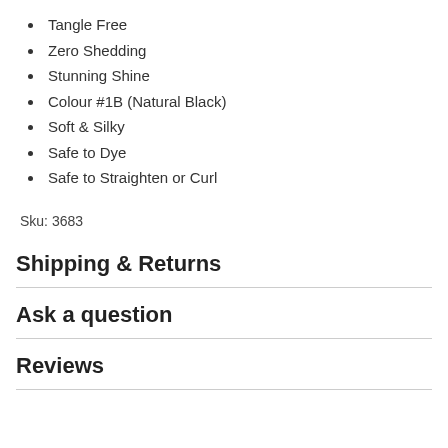Tangle Free
Zero Shedding
Stunning Shine
Colour #1B (Natural Black)
Soft & Silky
Safe to Dye
Safe to Straighten or Curl
Sku: 3683
Shipping & Returns
Ask a question
Reviews